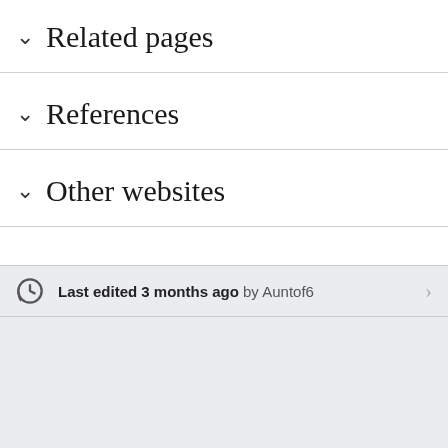∨ Related pages
∨ References
∨ Other websites
Last edited 3 months ago by Auntof6